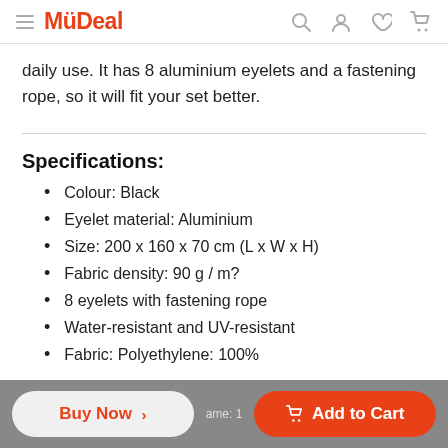MyDeal
daily use. It has 8 aluminium eyelets and a fastening rope, so it will fit your set better.
Specifications:
Colour: Black
Eyelet material: Aluminium
Size: 200 x 160 x 70 cm (L x W x H)
Fabric density: 90 g / m?
8 eyelets with fastening rope
Water-resistant and UV-resistant
Fabric: Polyethylene: 100%